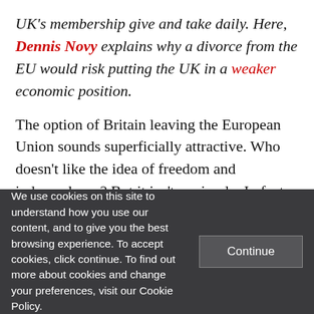UK's membership give and take daily. Here, Dennis Novy explains why a divorce from the EU would risk putting the UK in a weaker economic position.
The option of Britain leaving the European Union sounds superficially attractive. Who doesn't like the idea of freedom and independence? But it isn't as simple. In fact, Britain needs Europe a lot more than Europe
We use cookies on this site to understand how you use our content, and to give you the best browsing experience. To accept cookies, click continue. To find out more about cookies and change your preferences, visit our Cookie Policy.